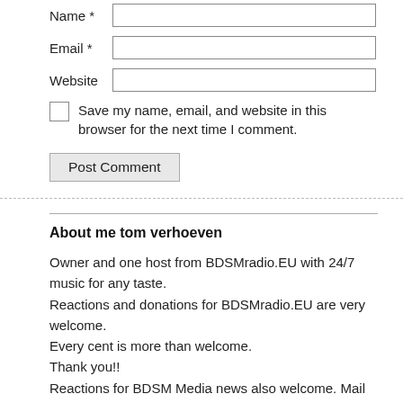Name *
Email *
Website
Save my name, email, and website in this browser for the next time I comment.
Post Comment
About me tom verhoeven
Owner and one host from BDSMradio.EU with 24/7 music for any taste.
Reactions and donations for BDSMradio.EU are very welcome.
Every cent is more than welcome.
Thank you!!
Reactions for BDSM Media news also welcome. Mail
bdsmradioeu@hotmail.com